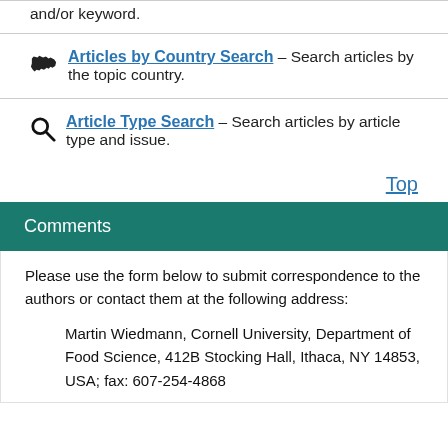and/or keyword.
Articles by Country Search – Search articles by the topic country.
Article Type Search – Search articles by article type and issue.
Top
Comments
Please use the form below to submit correspondence to the authors or contact them at the following address:
Martin Wiedmann, Cornell University, Department of Food Science, 412B Stocking Hall, Ithaca, NY 14853, USA; fax: 607-254-4868